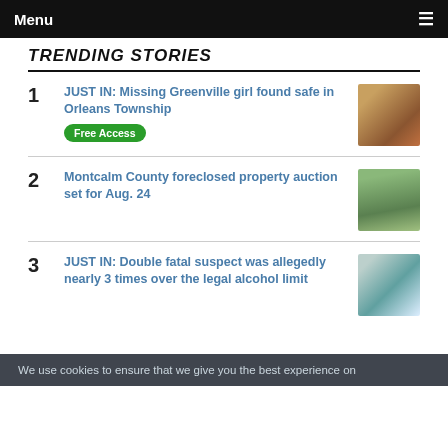Menu ☰
TRENDING STORIES
1  JUST IN: Missing Greenville girl found safe in Orleans Township  [Free Access]
2  Montcalm County foreclosed property auction set for Aug. 24
3  JUST IN: Double fatal suspect was allegedly nearly 3 times over the legal alcohol limit
We use cookies to ensure that we give you the best experience on